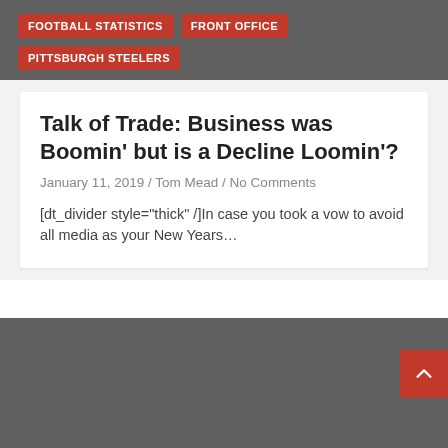FOOTBALL STATISTICS  FRONT OFFICE  PITTSBURGH STEELERS
Talk of Trade: Business was Boomin’ but is a Decline Loomin’?
January 11, 2019 / Tom Mead / No Comments
[dt_divider style="thick" /]In case you took a vow to avoid all media as your New Years…
[Figure (other): Dark gray background section with a red scroll-to-top arrow button in the lower right corner]